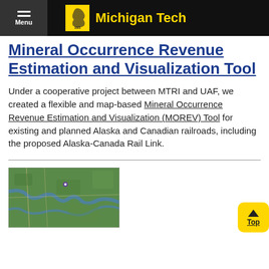Menu | Michigan Tech
Mineral Occurrence Revenue Estimation and Visualization Tool
Under a cooperative project between MTRI and UAF, we created a flexible and map-based Mineral Occurrence Revenue Estimation and Visualization (MOREV) Tool for existing and planned Alaska and Canadian railroads, including the proposed Alaska-Canada Rail Link.
[Figure (map): Satellite/aerial map image showing terrain with roads and geographic features, likely an Alaska or Canadian railroad region.]
Top